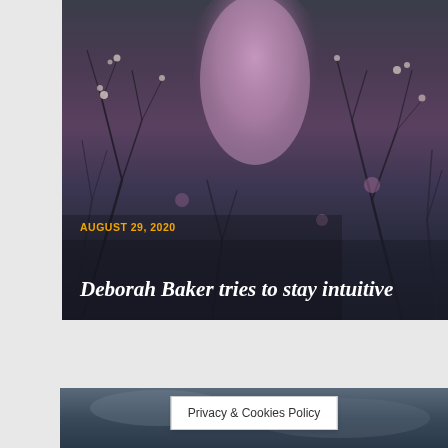[Figure (photo): Artistic double-exposure style photograph combining a figure with trees and flowers in muted purple, grey, and dark blue tones. Pink/lavender colors dominate the upper portion overlaid with dark bare tree branches.]
AUGUST 29, 2020
Deborah Baker tries to stay intuitive
[Figure (photo): Partial view of a second photo at the bottom of the page showing a dark blue-grey sky or water scene.]
Privacy & Cookies Policy